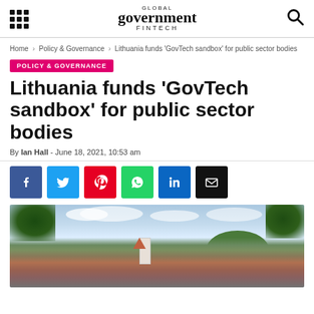GLOBAL Government FINTECH
Home › Policy & Governance › Lithuania funds 'GovTech sandbox' for public sector bodies
POLICY & GOVERNANCE
Lithuania funds 'GovTech sandbox' for public sector bodies
By Ian Hall - June 18, 2021, 10:53 am
[Figure (other): Social media share buttons: Facebook, Twitter, Pinterest, WhatsApp, LinkedIn, Email]
[Figure (photo): Panoramic view of Vilnius, Lithuania showing historic buildings including a white church tower with red roof, a green hill, and trees in the foreground against a cloudy sky]